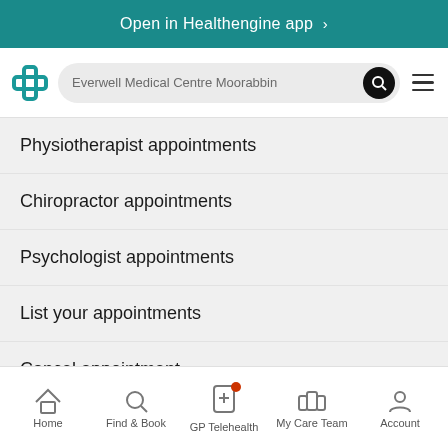Open in Healthengine app >
[Figure (screenshot): Healthengine app logo (teal cross/plus icon) next to a search bar showing 'Everwell Medical Centre Moorabbin' with a black search button and hamburger menu icon]
Physiotherapist appointments
Chiropractor appointments
Psychologist appointments
List your appointments
Cancel appointment
Home  Find & Book  GP Telehealth  My Care Team  Account